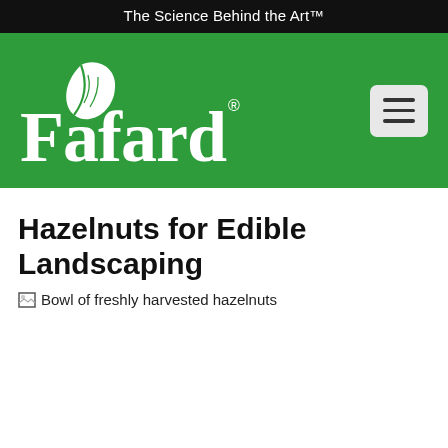The Science Behind the Art™
[Figure (logo): Fafard logo with leaf icon on green background header, with hamburger menu button on the right]
Hazelnuts for Edible Landscaping
[Figure (photo): Broken image placeholder with alt text: Bowl of freshly harvested hazelnuts]